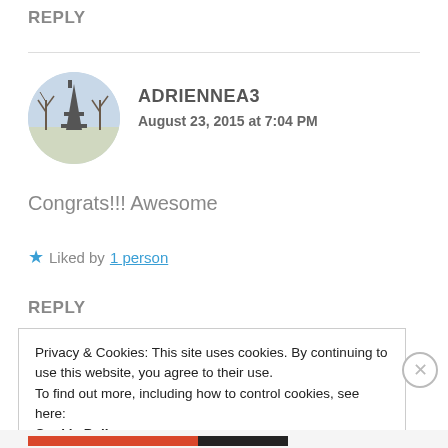REPLY
ADRIENNEA3
August 23, 2015 at 7:04 PM
Congrats!!! Awesome
★ Liked by 1 person
REPLY
Privacy & Cookies: This site uses cookies. By continuing to use this website, you agree to their use.
To find out more, including how to control cookies, see here:
Cookie Policy
Close and accept